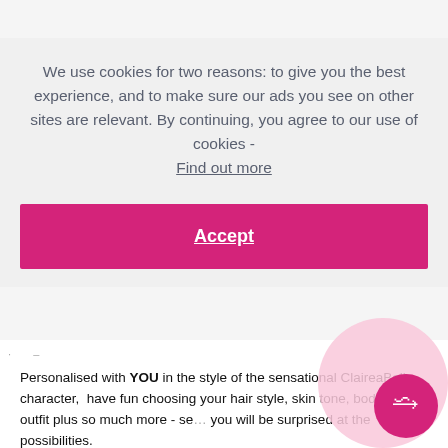We use cookies for two reasons: to give you the best experience, and to make sure our ads you see on other sites are relevant. By continuing, you agree to our use of cookies - Find out more
Accept
Personalised with YOU in the style of the sensational ClaireaBella character,  have fun choosing your hair style, skin tone, body shape, outfit plus so much more - se... you will be surprised at the possibilities.